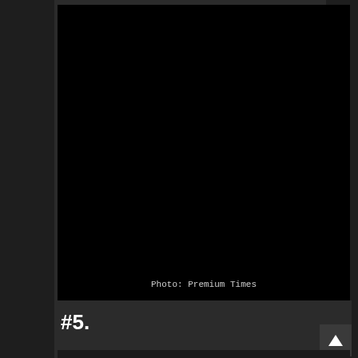[Figure (photo): Large black/very dark photograph taking up most of the upper portion of the page, with a photo credit 'Photo: Premium Times' displayed in white monospace text at the bottom of the image.]
Photo: Premium Times
#5.